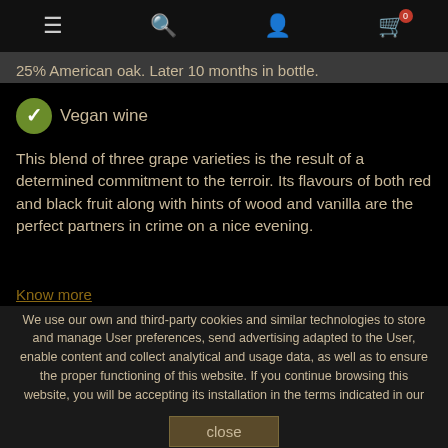Navigation bar with menu, search, account, and cart icons
25% American oak. Later 10 months in bottle.
Vegan wine
This blend of three grape varieties is the result of a determined commitment to the terroir. Its flavours of both red and black fruit along with hints of wood and vanilla are the perfect partners in crime on a nice evening.
Know more
We use our own and third-party cookies and similar technologies to store and manage User preferences, send advertising adapted to the User, enable content and collect analytical and usage data, as well as to ensure the proper functioning of this website. If you continue browsing this website, you will be accepting its installation in the terms indicated in our
close